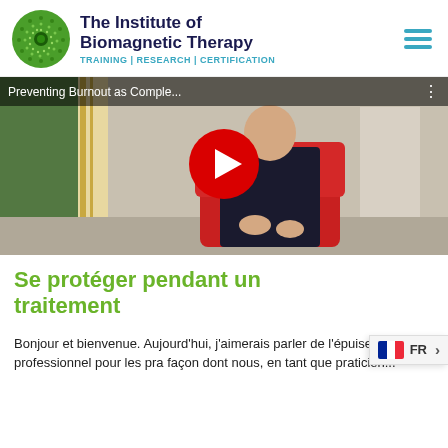[Figure (logo): The Institute of Biomagnetic Therapy logo with circular green pattern and text]
The Institute of Biomagnetic Therapy
TRAINING | RESEARCH | CERTIFICATION
[Figure (screenshot): YouTube video thumbnail showing a man sitting in a red chair with title 'Preventing Burnout as Comple...' and a red play button overlay]
Se protéger pendant un traitement
Bonjour et bienvenue. Aujourd'hui, j'aimerais parler de l'épuisement professionnel pour les pra façon dont nous, en tant que praticien...